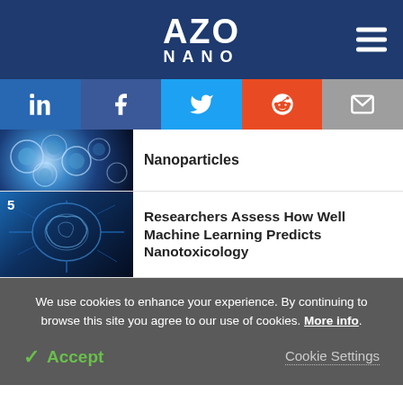AZO NANO
[Figure (screenshot): Social media share buttons: LinkedIn, Facebook, Twitter, Reddit, Email]
[Figure (photo): Nanoparticles microscopy image - spherical glowing structures on dark background]
Nanoparticles
[Figure (photo): Machine learning brain circuit illustration - blue neural network on dark background with number 5]
Researchers Assess How Well Machine Learning Predicts Nanotoxicology
We use cookies to enhance your experience. By continuing to browse this site you agree to our use of cookies. More info.
✓ Accept   Cookie Settings